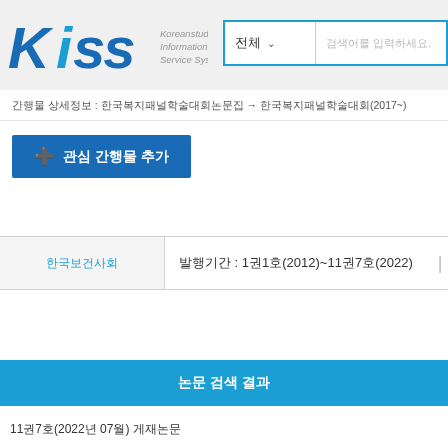[Figure (logo): KISS - Koreanstudies Information Service System logo with blue stylized text]
검색어를 입력하세요.
간행물 상세정보 : 한국복지패널학술대회논문집 → 한국복지패널학술대회(2017~)
관심 간행물 추가
| 발행기관 | 발행기간 |
| --- | --- |
| 한국보건사회 | 발행기간 : 1권1호(2012)~11권7호(2022) |
논문 검색 결과
11권7호(2022년 07월) 게재논문